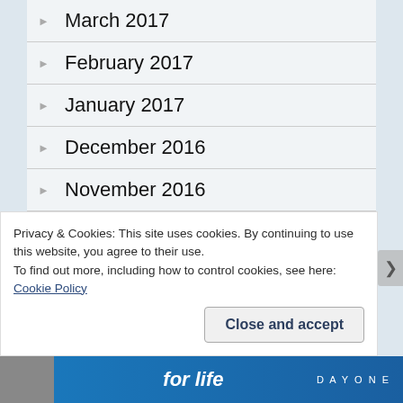March 2017
February 2017
January 2017
December 2016
November 2016
October 2016
September 2016
August 2016
Privacy & Cookies: This site uses cookies. By continuing to use this website, you agree to their use.
To find out more, including how to control cookies, see here: Cookie Policy
Close and accept